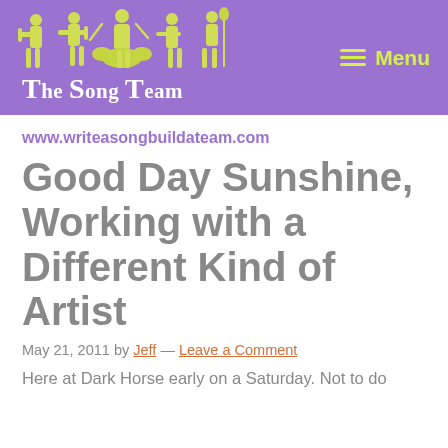The Song Team — Menu
www.writeasongbuildateam.com
Good Day Sunshine, Working with a Different Kind of Artist
May 21, 2011 by Jeff — Leave a Comment
Here at Dark Horse early on a Saturday. Not to do